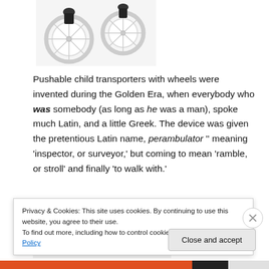[Figure (photo): Partial top view of a multi-wheeled child transporter/stroller showing white-rimmed wheels against a white background]
Pushable child transporters with wheels were invented during the Golden Era, when everybody who was somebody (as long as he was a man), spoke much Latin, and a little Greek. The device was given the pretentious Latin name, perambulator '' meaning 'inspector, or surveyor,' but coming to mean 'ramble, or stroll' and finally 'to walk with.'
[Figure (photo): Partial view of a blue modern stroller/pram with black frame, cropped at bottom of page]
Privacy & Cookies: This site uses cookies. By continuing to use this website, you agree to their use.
To find out more, including how to control cookies, see here: Cookie Policy
Close and accept